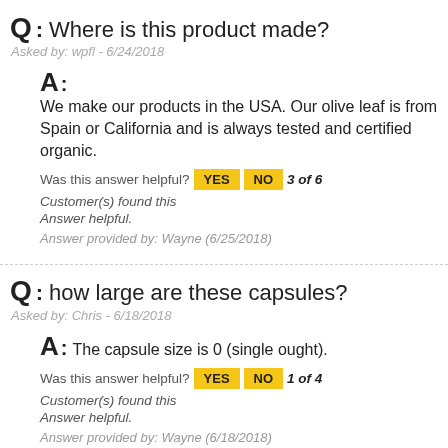Q: Where is this product made?
Asked by: wpfl - 6/24/2018
A: We make our products in the USA. Our olive leaf is from Spain or California and is always tested and certified organic.
Was this answer helpful? YES NO 3 of 6 Customer(s) found this Answer helpful.
Answer provided by: Wayne (6/25/2018)
Q: how large are these capsules?
Asked by: Chris - 6/18/2018
A: The capsule size is 0 (single ought).
Was this answer helpful? YES NO 1 of 4 Customer(s) found this Answer helpful.
Answer provided by: Wayne (6/18/2018)